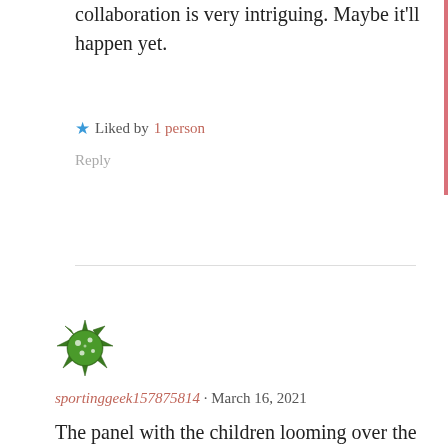collaboration is very intriguing. Maybe it'll happen yet.
★ Liked by 1 person
Reply
[Figure (illustration): Green spiky avatar icon for user sportinggeek157875814]
sportinggeek157875814 · March 16, 2021
The panel with the children looming over the stricken GL & GA was censored. The kids were